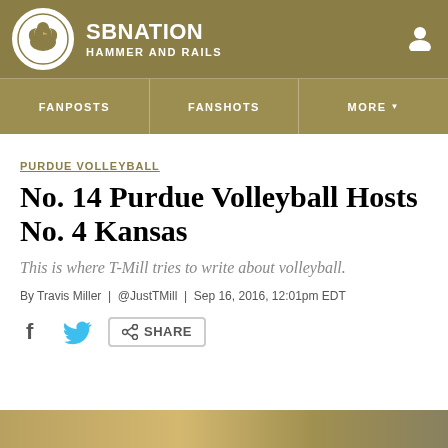SB NATION — HAMMER AND RAILS
PURDUE VOLLEYBALL
No. 14 Purdue Volleyball Hosts No. 4 Kansas
This is where T-Mill tries to write about volleyball.
By Travis Miller | @JustTMill | Sep 16, 2016, 12:01pm EDT